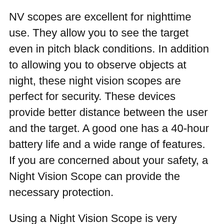NV scopes are excellent for nighttime use. They allow you to see the target even in pitch black conditions. In addition to allowing you to observe objects at night, these night vision scopes are perfect for security. These devices provide better distance between the user and the target. A good one has a 40-hour battery life and a wide range of features. If you are concerned about your safety, a Night Vision Scope can provide the necessary protection.
Using a Night Vision Scope is very important for security. It can be used for security and hunting. It can be mounted on a rifle and has various features. It can also be used for hunting and security. There are different models of night vision scopes for different purposes.